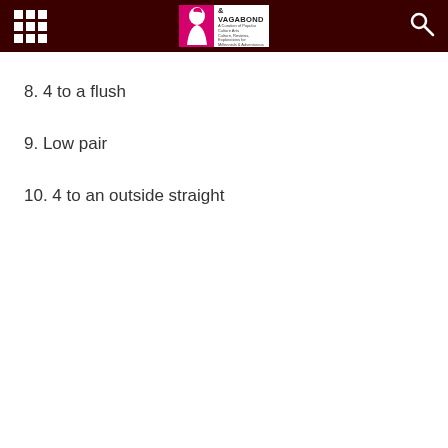Scallywag & Vagabond
8. 4 to a flush
9. Low pair
10. 4 to an outside straight